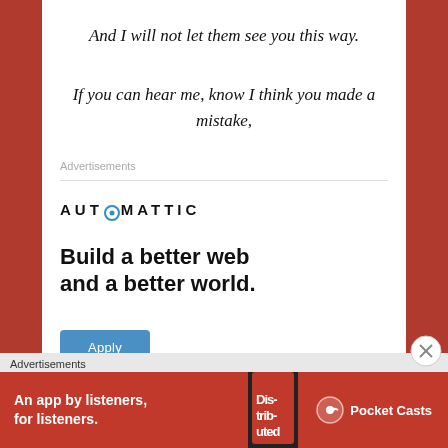And I will not let them see you this way.
If you can hear me, know I think you made a mistake,
Advertisements
[Figure (infographic): Automattic advertisement: logo with stylized O, headline 'Build a better web and a better world.', blue Apply button, circular photo of a person]
Advertisements
[Figure (infographic): Pocket Casts advertisement banner: red background, text 'An app by listeners, for listeners.', phone image, Pocket Casts logo]